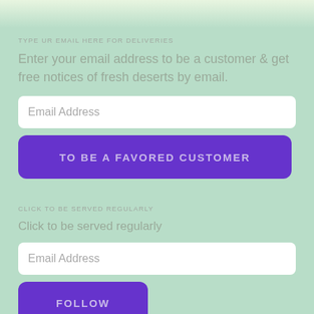TYPE UR EMAIL HERE FOR DELIVERIES
Enter your email address to be a customer & get free notices of fresh deserts by email.
Email Address
TO BE A FAVORED CUSTOMER
CLICK TO BE SERVED REGULARLY
Click to be served regularly
Email Address
FOLLOW